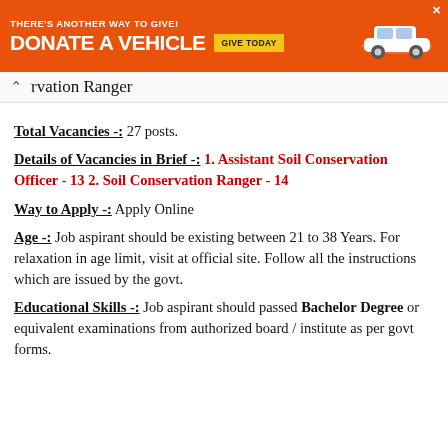[Figure (infographic): Orange advertisement banner: THERE'S ANOTHER WAY TO GIVE! DONATE A VEHICLE with GIVE TODAY button and car image]
rvation Ranger
Total Vacancies -: 27 posts.
Details of Vacancies in Brief -: 1. Assistant Soil Conservation Officer - 13 2. Soil Conservation Ranger - 14
Way to Apply -: Apply Online
Age -: Job aspirant should be existing between 21 to 38 Years. For relaxation in age limit, visit at official site. Follow all the instructions which are issued by the govt.
Educational Skills -: Job aspirant should passed Bachelor Degree or equivalent examinations from authorized board / institute as per govt forms.